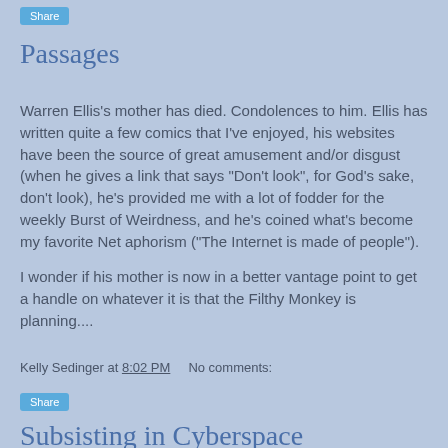Share
Passages
Warren Ellis's mother has died. Condolences to him. Ellis has written quite a few comics that I've enjoyed, his websites have been the source of great amusement and/or disgust (when he gives a link that says "Don't look", for God's sake, don't look), he's provided me with a lot of fodder for the weekly Burst of Weirdness, and he's coined what's become my favorite Net aphorism ("The Internet is made of people").
I wonder if his mother is now in a better vantage point to get a handle on whatever it is that the Filthy Monkey is planning....
Kelly Sedinger at 8:02 PM     No comments:
Share
Subsisting in Cyberspace